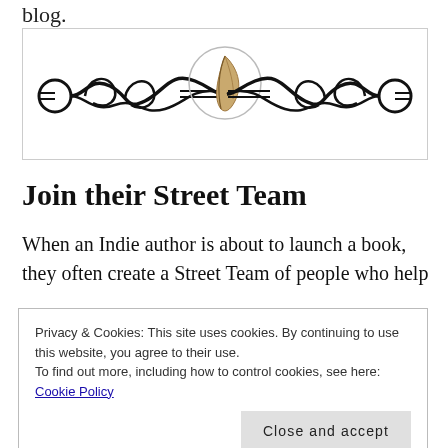blog.
[Figure (illustration): Decorative ornamental divider with swirling flourishes on both sides and a circular logo with a quill/feather in the center, inside a bordered box.]
Join their Street Team
When an Indie author is about to launch a book, they often create a Street Team of people who help
Privacy & Cookies: This site uses cookies. By continuing to use this website, you agree to their use.
To find out more, including how to control cookies, see here: Cookie Policy

Close and accept